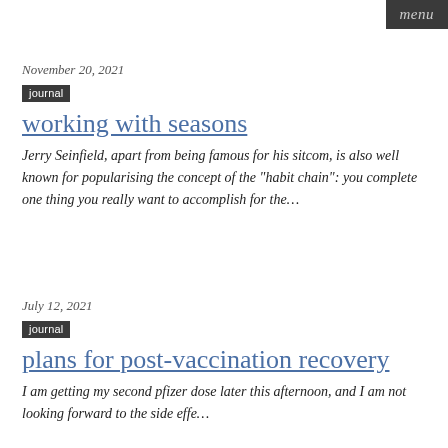menu
November 20, 2021
journal
working with seasons
Jerry Seinfield, apart from being famous for his sitcom, is also well known for popularising the concept of the "habit chain": you complete one thing you really want to accomplish for the…
July 12, 2021
journal
plans for post-vaccination recovery
I am getting my second pfizer dose later this afternoon, and I am not looking forward to the side effects…